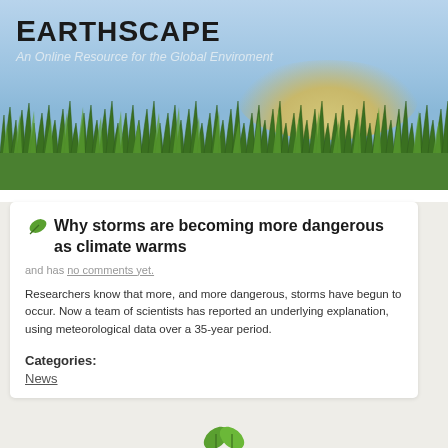EarthScape — An Online Resource for the Global Enviroment
[Figure (illustration): Website banner with EarthScape logo over a blue sky background with illustrated green grass field at the bottom]
Why storms are becoming more dangerous as climate warms
and has no comments yet.
Researchers know that more, and more dangerous, storms have begun to occur. Now a team of scientists has reported an underlying explanation, using meteorological data over a 35-year period.
Categories:
News
[Figure (logo): Two green leaves logo at the bottom of the page]